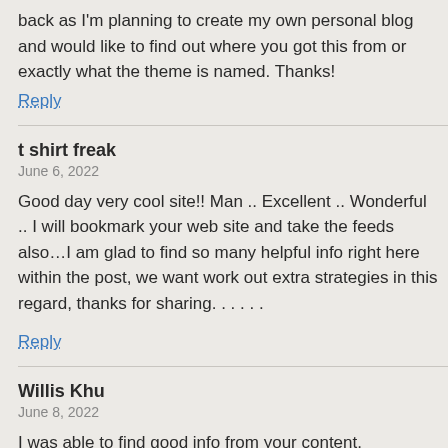back as I'm planning to create my own personal blog and would like to find out where you got this from or exactly what the theme is named. Thanks!
Reply
t shirt freak
June 6, 2022
Good day very cool site!! Man .. Excellent .. Wonderful .. I will bookmark your web site and take the feeds also…I am glad to find so many helpful info right here within the post, we want work out extra strategies in this regard, thanks for sharing. . . . . .
Reply
Willis Khu
June 8, 2022
I was able to find good info from your content.
Reply